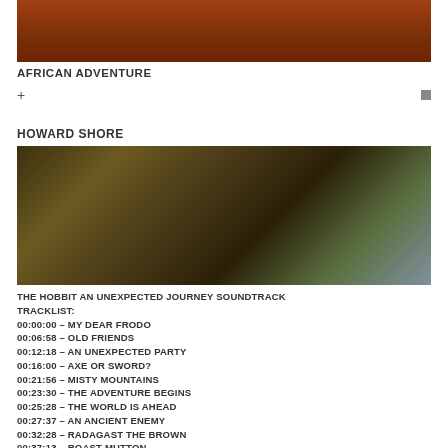[Figure (photo): Partial view of African Adventure album/movie art showing a reddish-brown background]
AFRICAN ADVENTURE
[Figure (photo): The Hobbit: An Unexpected Journey movie poster showing Bilbo Baggins (Martin Freeman) with a sword, dramatic sky background]
HOWARD SHORE
THE HOBBIT AN UNEXPECTED JOURNEY SOUNDTRACK TRACKLIST:
00:00:00 – MY DEAR FRODO
00:06:58 – OLD FRIENDS
00:12:18 – AN UNEXPECTED PARTY
00:16:00 – AXE OR SWORD?
00:21:56 – MISTY MOUNTAINS
00:23:30 – THE ADVENTURE BEGINS
00:25:28 – THE WORLD IS AHEAD
00:27:37 – AN ANCIENT ENEMY
00:32:28 – RADAGAST THE BROWN
00:37:13 – ROAST MUTTON
00:40:50 – A TROLL-HOARD
00:43:43 – THE HILL OF SORCERY
00:47:28 – WARG-SCOUTS